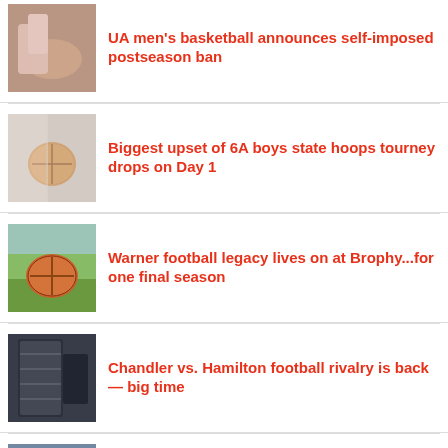UA men's basketball announces self-imposed postseason ban
[Figure (photo): Basketball player hands close-up]
Biggest upset of 6A boys state hoops tourney drops on Day 1
[Figure (photo): Hands reaching for basketball]
Warner football legacy lives on at Brophy...for one final season
[Figure (photo): Football on grass field]
Chandler vs. Hamilton football rivalry is back — big time
[Figure (photo): Football helmet close-up]
Talented young pitchers give ASU